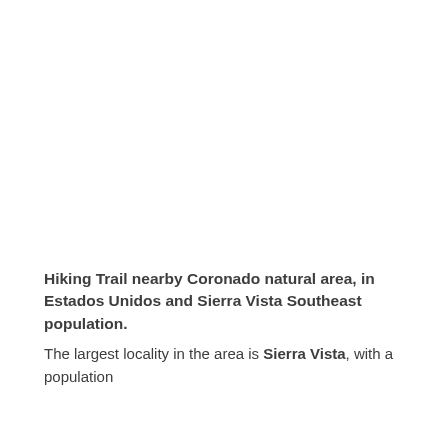[Figure (photo): Large blank/white image area representing a hiking trail near Coronado natural area]
Hiking Trail nearby Coronado natural area, in Estados Unidos and Sierra Vista Southeast population.
The largest locality in the area is Sierra Vista, with a population of 43,888, at a distance of 25.343 kilometers from the